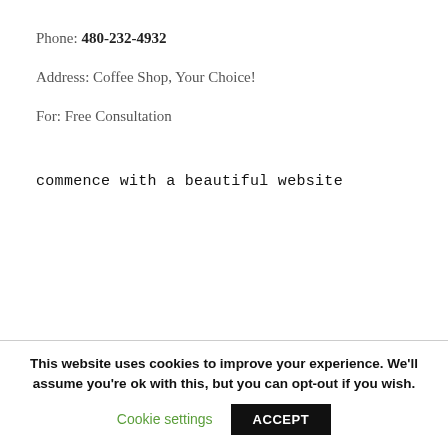Phone: 480-232-4932
Address: Coffee Shop, Your Choice!
For: Free Consultation
commence with a beautiful website
This website uses cookies to improve your experience. We'll assume you're ok with this, but you can opt-out if you wish.
Cookie settings
ACCEPT